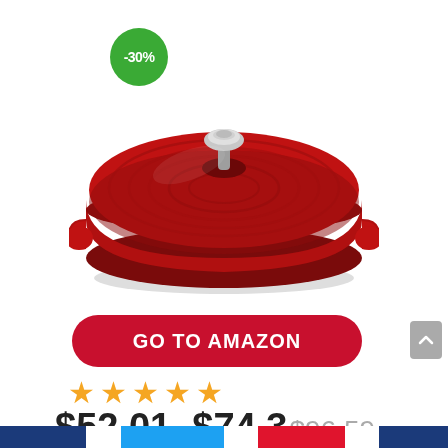[Figure (photo): Red enameled cast iron shallow casserole/braiser with lid and two handles, shown from a slight angle. A green circular discount badge showing -30% is overlaid on the upper left of the image.]
GO TO AMAZON
[Figure (other): Five orange/gold star rating icons]
$52.01–$74.3$96.59